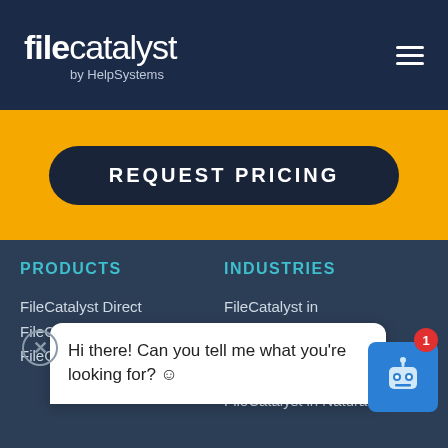[Figure (logo): FileCatalyst by HelpSystems logo — white text on dark navy header]
REQUEST PRICING
PRODUCTS
FileCatalyst Direct
FileCatalyst Workflow
FileCatalyst Central
INDUSTRIES
FileCatalyst in Broadcast Media
FileCatalyst in Enterprise IT
FileCatalyst in Natural
Hi there! Can you tell me what you're looking for? ☺